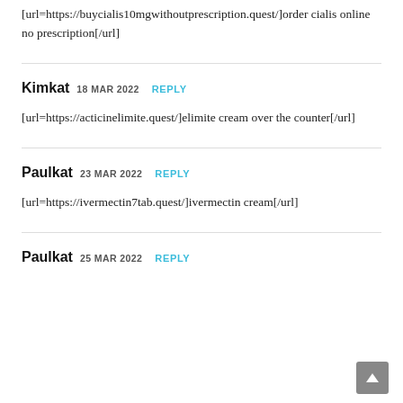[url=https://buycialis10mgwithoutprescription.quest/]order cialis online no prescription[/url]
Kimkat 18 MAR 2022 REPLY
[url=https://acticinelimite.quest/]elimite cream over the counter[/url]
Paulkat 23 MAR 2022 REPLY
[url=https://ivermectin7tab.quest/]ivermectin cream[/url]
Paulkat 25 MAR 2022 REPLY